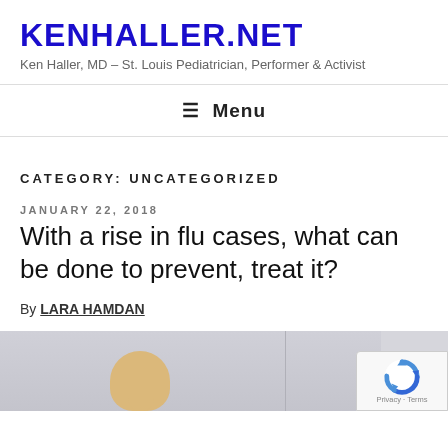KENHALLER.NET
Ken Haller, MD – St. Louis Pediatrician, Performer & Activist
≡ Menu
CATEGORY: UNCATEGORIZED
JANUARY 22, 2018
With a rise in flu cases, what can be done to prevent, treat it?
By LARA HAMDAN
[Figure (photo): Photo of a person, partially visible, with a reCAPTCHA privacy badge overlay in the bottom right corner.]